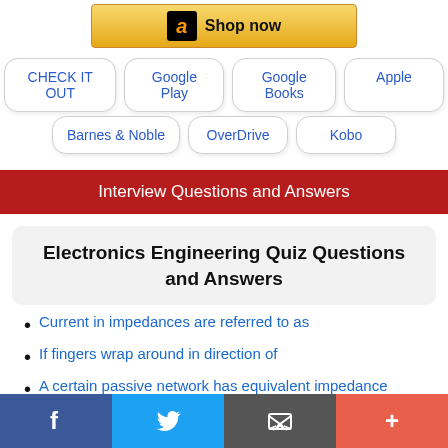[Figure (screenshot): Amazon Shop Now banner button]
CHECK IT OUT
Google Play
Google Books
Apple
Barnes & Noble
OverDrive
Kobo
Interview Questions and Answers
Electronics Engineering Quiz Questions and Answers
Current in impedances are referred to as
If fingers wrap around in direction of
A certain passive network has equivalent impedance